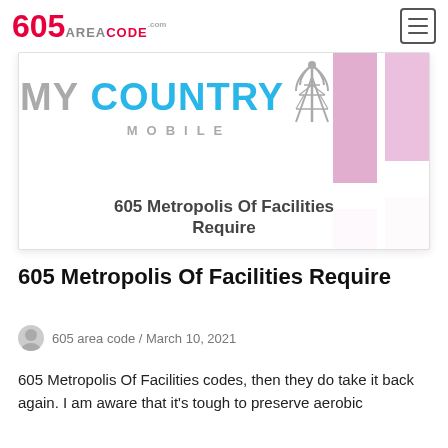605AREACODE.com
[Figure (logo): My Country Mobile logo with tower graphic and pink bar chart decorations on right side, with overlay title '605 Metropolis Of Facilities Require']
605 Metropolis Of Facilities Require
605 area code / March 10, 2021
605 Metropolis Of Facilities codes, then they do take it back again. I am aware that it's tough to preserve aerobic